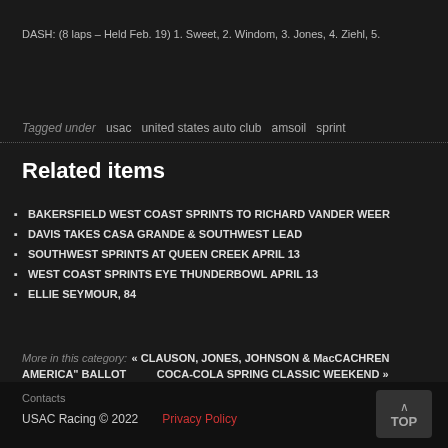DASH: (8 laps – Held Feb. 19) 1. Sweet, 2. Windom, 3. Jones, 4. Ziehl, 5.
Tagged under   usac   united states auto club   amsoil   sprint
Related items
BAKERSFIELD WEST COAST SPRINTS TO RICHARD VANDER WEER
DAVIS TAKES CASA GRANDE & SOUTHWEST LEAD
SOUTHWEST SPRINTS AT QUEEN CREEK APRIL 13
WEST COAST SPRINTS EYE THUNDERBOWL APRIL 13
ELLIE SEYMOUR, 84
More in this category:   « CLAUSON, JONES, JOHNSON & MacCACHREN   COCA-COLA SPRING CLASSIC WEEKEND »   AMERICA" BALLOT
Contacts
USAC Racing © 2022   Privacy Policy